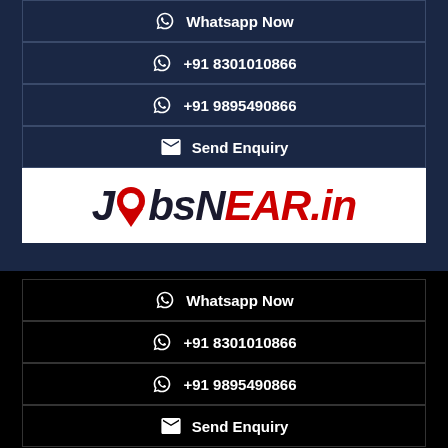Whatsapp Now
+91 8301010866
+91 9895490866
Send Enquiry
[Figure (logo): JobsNear.in logo with location pin icon, black and red text on white background]
Whatsapp Now
+91 8301010866
+91 9895490866
Send Enquiry
Copyright © Nestsoft (Cyberoid) 2022. All rights reserved.